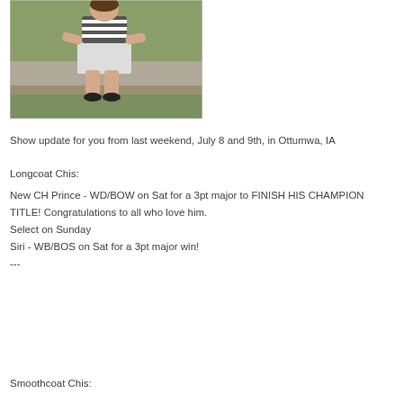[Figure (photo): A person wearing a striped top and light skirt sitting on a concrete wall outside with grass in the background.]
Show update for you from last weekend, July 8 and 9th, in Ottumwa, IA
Longcoat Chis:
New CH Prince - WD/BOW on Sat for a 3pt major to FINISH HIS CHAMPION TITLE! Congratulations to all who love him.
Select on Sunday
Siri - WB/BOS on Sat for a 3pt major win!
---
Smoothcoat Chis: